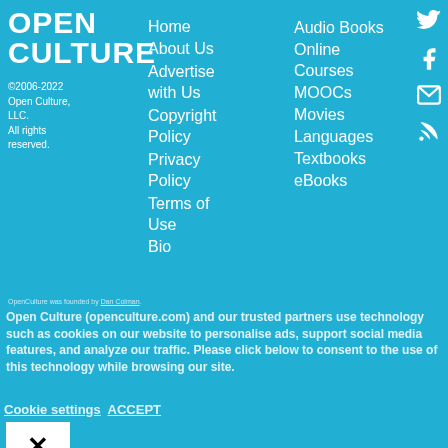OPEN CULTURE
©2006-2022 Open Culture, LLC. All rights reserved.
Home
About Us
Advertise with Us
Copyright Policy
Privacy Policy
Terms of Use
Bio
Audio Books
Online Courses
MOOCs
Movies
Languages
Textbooks
eBooks
[Figure (infographic): Twitter, Facebook, Email, RSS social media icons]
OpenCulture was founded by [link]
Open Culture (openculture.com) and our trusted partners use technology such as cookies on our website to personalise ads, support social media features, and analyze our traffic. Please click below to consent to the use of this technology while browsing our site.
Cookie settings   ACCEPT
[Figure (other): Close button with X icon and 'Close' label]
Privacy Overview